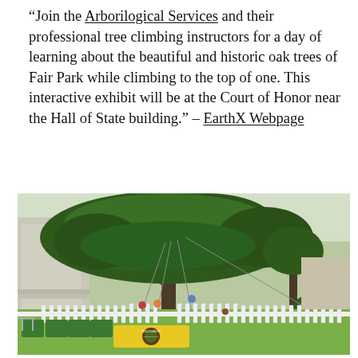“Join the Arborilogical Services and their professional tree climbing instructors for a day of learning about the beautiful and historic oak trees of Fair Park while climbing to the top of one. This interactive exhibit will be at the Court of Honor near the Hall of State building.” – EarthX Webpage
[Figure (photo): Outdoor photo showing people climbing large oak trees using ropes at Fair Park. A white picket fence encloses the area. Green bins, a table, and a Tree Climbers International banner are visible in the foreground. A neoclassical building is partially visible in the background.]